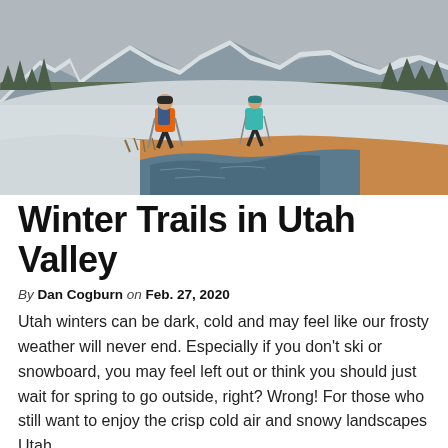[Figure (photo): Two hikers with trekking poles walking along a snowy trail beside a flowing stream, with snow-covered mountains and conifer forests in the background under a grey winter sky. One hiker wears an orange jacket, the other a teal jacket.]
Winter Trails in Utah Valley
By Dan Cogburn on Feb. 27, 2020
Utah winters can be dark, cold and may feel like our frosty weather will never end. Especially if you don't ski or snowboard, you may feel left out or think you should just wait for spring to go outside, right? Wrong! For those who still want to enjoy the crisp cold air and snowy landscapes Utah…